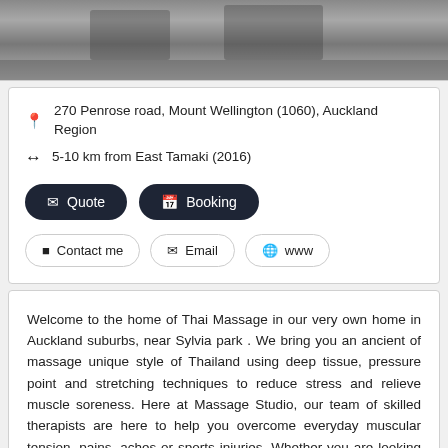[Figure (photo): Partial view of a parking lot or road area, cropped at the top of the page]
270 Penrose road, Mount Wellington (1060), Auckland Region
5-10 km from East Tamaki (2016)
Quote
Booking
Contact me
Email
www
Welcome to the home of Thai Massage in our very own home in Auckland suburbs, near Sylvia park . We bring you an ancient of massage unique style of Thailand using deep tissue, pressure point and stretching techniques to reduce stress and relieve muscle soreness. Here at Massage Studio, our team of skilled therapists are here to help you overcome everyday muscular tension, pains, aches or sports injuries. Whether you are looking for more energy, freedom of movement or just to relax, we are here... Read more